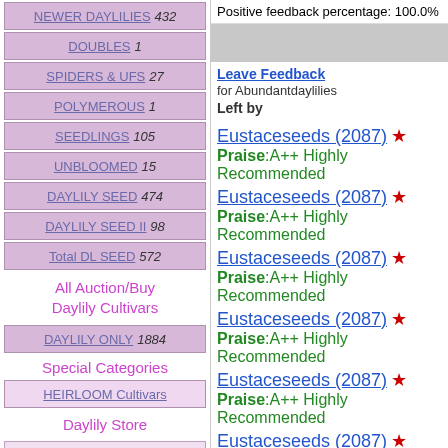NEWER DAYLILIES 432
DOUBLES 1
SPIDERS & UFS 27
POLYMEROUS 1
SEEDLINGS 105
UNBLOOMED 15
DAYLILY SEED 474
DAYLILY SEED II 98
Total DL SEED 572
All Auction/Buy Daylily Cultivars
DAYLILY ONLY 1884
Special Categories
HEIRLOOM Cultivars
Daylily Store
Positive feedback percentage: 100.0%
Leave Feedback
for Abundantdaylilies
Left by
Eustaceseeds (2087) ★ Praise:A++ Highly Recommended
Eustaceseeds (2087) ★ Praise:A++ Highly Recommended
Eustaceseeds (2087) ★ Praise:A++ Highly Recommended
Eustaceseeds (2087) ★ Praise:A++ Highly Recommended
Eustaceseeds (2087) ★ Praise:A++ Highly Recommended
Eustaceseeds (2087) ★ Praise:A++ Highly Recommended
Eustaceseeds (2087) ★ Praise:A++ Highly Recommended